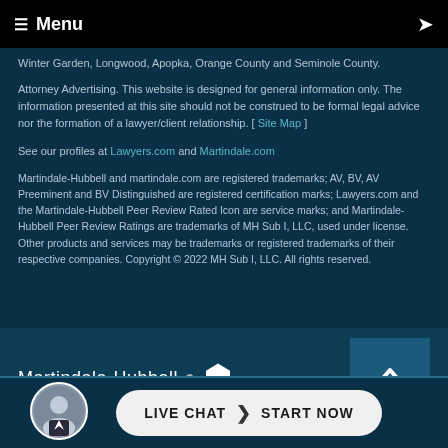≡ Menu
Winter Garden, Longwood, Apopka, Orange County and Seminole County.
Attorney Advertising. This website is designed for general information only. The information presented at this site should not be construed to be formal legal advice nor the formation of a lawyer/client relationship. [ Site Map ]
See our profiles at Lawyers.com and Martindale.com
Martindale-Hubbell and martindale.com are registered trademarks; AV, BV, AV Preeminent and BV Distinguished are registered certification marks; Lawyers.com and the Martindale-Hubbell Peer Review Rated Icon are service marks; and Martindale-Hubbell Peer Review Ratings are trademarks of MH Sub I, LLC, used under license. Other products and services may be trademarks or registered trademarks of their respective companies. Copyright © 2022 MH Sub I, LLC. All rights reserved.
[Figure (logo): Martindale-Hubbell logo with hexagon icon]
[Figure (other): Back to top button with upward caret arrow]
[Figure (photo): Attorney headshot avatar circle]
LIVE CHAT | START NOW